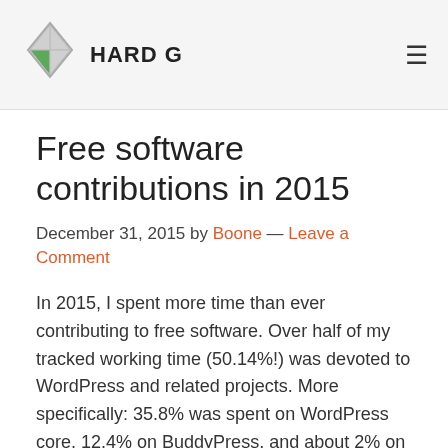HARD G
Free software contributions in 2015
December 31, 2015 by Boone — Leave a Comment
In 2015, I spent more time than ever contributing to free software. Over half of my tracked working time (50.14%!) was devoted to WordPress and related projects. More specifically: 35.8% was spent on WordPress core, 12.4% on BuddyPress, and about 2% on the maintenance of other plugins.
A few things I'm especially proud of: